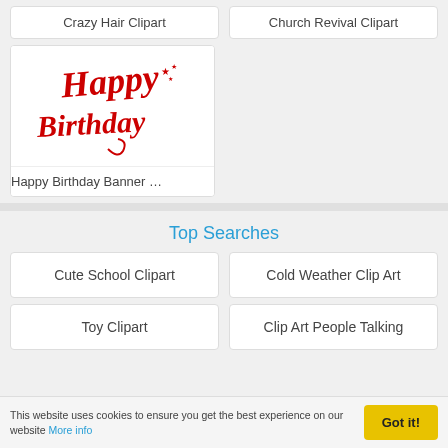Crazy Hair Clipart
Church Revival Clipart
[Figure (illustration): Happy Birthday text in red decorative script with stars]
Happy Birthday Banner …
Top Searches
Cute School Clipart
Cold Weather Clip Art
Toy Clipart
Clip Art People Talking
This website uses cookies to ensure you get the best experience on our website More info